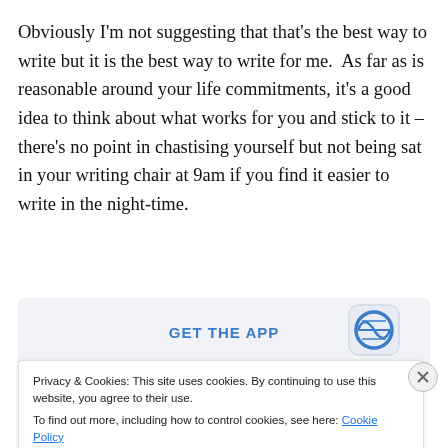Obviously I'm not suggesting that that's the best way to write but it is the best way to write for me.  As far as is reasonable around your life commitments, it's a good idea to think about what works for you and stick to it – there's no point in chastising yourself but not being sat in your writing chair at 9am if you find it easier to write in the night-time.
[Figure (screenshot): App download banner with 'GET THE APP' text and WordPress logo icon]
Privacy & Cookies: This site uses cookies. By continuing to use this website, you agree to their use.
To find out more, including how to control cookies, see here: Cookie Policy
Close and accept